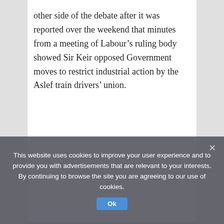other side of the debate after it was reported over the weekend that minutes from a meeting of Labour’s ruling body showed Sir Keir opposed Government moves to restrict industrial action by the Aslef train drivers’ union.
[Figure (photo): A group of people standing in front of a building, holding protest signs, on a city street with trees and tall buildings in the background.]
This website uses cookies to improve your user experience and to provide you with advertisements that are relevant to your interests. By continuing to browse the site you are agreeing to our use of cookies.